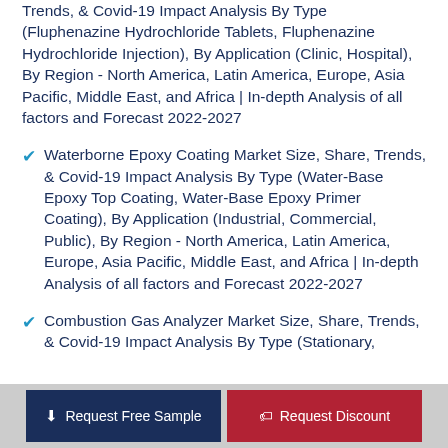Trends, & Covid-19 Impact Analysis By Type (Fluphenazine Hydrochloride Tablets, Fluphenazine Hydrochloride Injection), By Application (Clinic, Hospital), By Region - North America, Latin America, Europe, Asia Pacific, Middle East, and Africa | In-depth Analysis of all factors and Forecast 2022-2027
Waterborne Epoxy Coating Market Size, Share, Trends, & Covid-19 Impact Analysis By Type (Water-Base Epoxy Top Coating, Water-Base Epoxy Primer Coating), By Application (Industrial, Commercial, Public), By Region - North America, Latin America, Europe, Asia Pacific, Middle East, and Africa | In-depth Analysis of all factors and Forecast 2022-2027
Combustion Gas Analyzer Market Size, Share, Trends, & Covid-19 Impact Analysis By Type (Stationary,
Request Free Sample
Request Discount